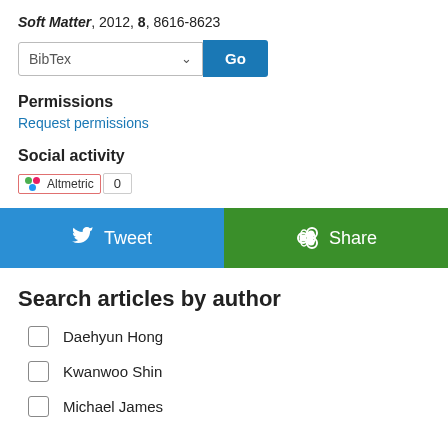Soft Matter, 2012, 8, 8616-8623
[Figure (screenshot): BibTex dropdown selector with Go button]
Permissions
Request permissions
Social activity
[Figure (other): Altmetric badge showing 0]
[Figure (other): Tweet and Share social buttons]
Search articles by author
Daehyun Hong
Kwanwoo Shin
Michael James